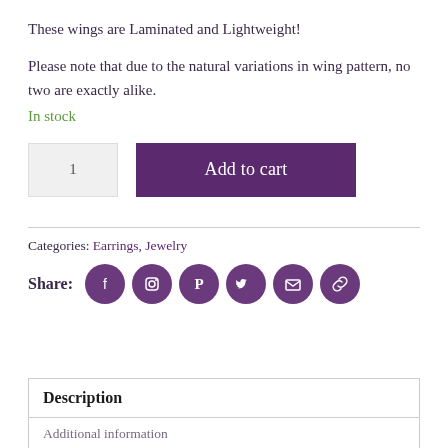These wings are Laminated and Lightweight!
Please note that due to the natural variations in wing pattern, no two are exactly alike.
In stock
1
Add to cart
Categories: Earrings, Jewelry
Share:
Description
Additional information